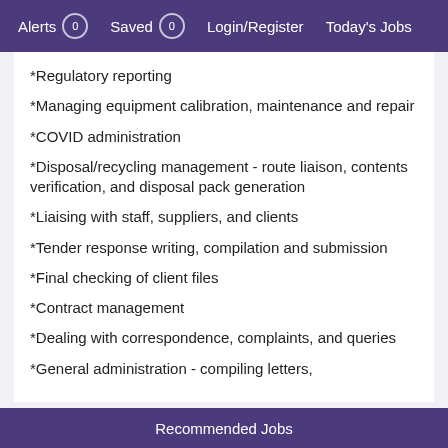Alerts 0  Saved 0  Login/Register  Today's Jobs
*Regulatory reporting
*Managing equipment calibration, maintenance and repair
*COVID administration
*Disposal/recycling management - route liaison, contents verification, and disposal pack generation
*Liaising with staff, suppliers, and clients
*Tender response writing, compilation and submission
*Final checking of client files
*Contract management
*Dealing with correspondence, complaints, and queries
*General administration - compiling letters,
Recommended Jobs